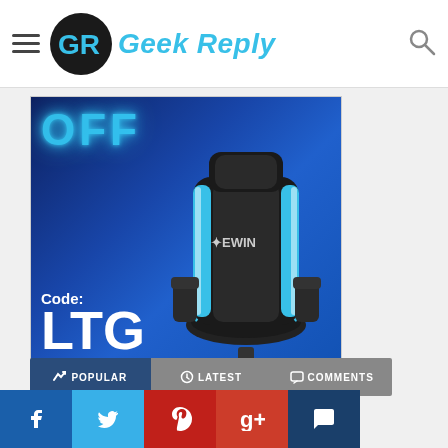Geek Reply
[Figure (photo): E-WIN Racing Gaming Chair advertisement banner. Blue background with 'OFF' text in cyan neon glow, 'Code: LTG' in white, and a black/blue gaming chair on the right side.]
Use code LTG for 20% off E-WIN Racing Gaming Chairs
POPULAR | LATEST | COMMENTS
[Figure (infographic): Social media share buttons: Facebook, Twitter, Pinterest, Google+, Comments]